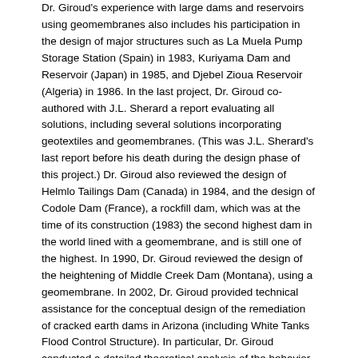Dr. Giroud's experience with large dams and reservoirs using geomembranes also includes his participation in the design of major structures such as La Muela Pump Storage Station (Spain) in 1983, Kuriyama Dam and Reservoir (Japan) in 1985, and Djebel Zioua Reservoir (Algeria) in 1986. In the last project, Dr. Giroud co-authored with J.L. Sherard a report evaluating all solutions, including several solutions incorporating geotextiles and geomembranes. (This was J.L. Sherard's last report before his death during the design phase of this project.) Dr. Giroud also reviewed the design of Helmlo Tailings Dam (Canada) in 1984, and the design of Codole Dam (France), a rockfill dam, which was at the time of its construction (1983) the second highest dam in the world lined with a geomembrane, and is still one of the highest. In 1990, Dr. Giroud reviewed the design of the heightening of Middle Creek Dam (Montana), using a geomembrane. In 2002, Dr. Giroud provided technical assistance for the conceptual design of the remediation of cracked earth dams in Arizona (including White Tanks Flood Control Structure). In particular, Dr. Giroud conducted a detailed theoretical analysis of the behavior of a geomembrane liner resting on an embankment where cracking develops (2004-2005). (This analysis was refined in 2012 for the design of Tekapo Canal in New Zealand using the same criteria as for large dams.) In 2006, Dr. Giroud provided technical assistance for two tailings dams lined with geomembranes under very low temperatures: Kulpol Tailings Dam in Russia, with a bituminous geomembrane; and Rod Dog Tailings Dam in Alaska, with